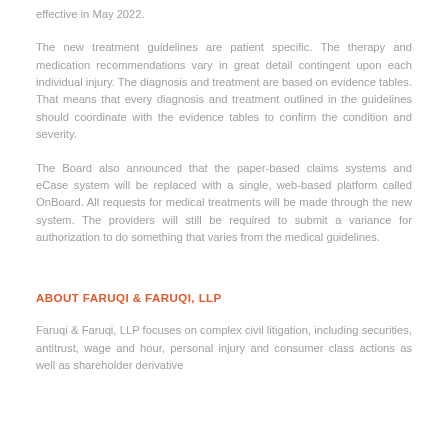effective in May 2022.
The new treatment guidelines are patient specific. The therapy and medication recommendations vary in great detail contingent upon each individual injury. The diagnosis and treatment are based on evidence tables. That means that every diagnosis and treatment outlined in the guidelines should coordinate with the evidence tables to confirm the condition and severity.
The Board also announced that the paper-based claims systems and eCase system will be replaced with a single, web-based platform called OnBoard. All requests for medical treatments will be made through the new system. The providers will still be required to submit a variance for authorization to do something that varies from the medical guidelines.
ABOUT FARUQI & FARUQI, LLP
Faruqi & Faruqi, LLP focuses on complex civil litigation, including securities, antitrust, wage and hour, personal injury and consumer class actions as well as shareholder derivative